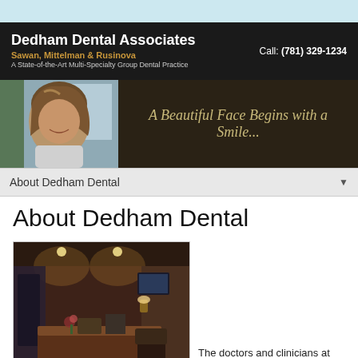[Figure (photo): Light blue top decorative bar]
Dedham Dental Associates | Sawan, Mittelman & Rusinova | A State-of-the-Art Multi-Specialty Group Dental Practice | Call: (781) 329-1234
[Figure (photo): Hero banner with woman smiling on left and italic script text 'A Beautiful Face Begins with a Smile...' on dark background]
About Dedham Dental
About Dedham Dental
[Figure (photo): Interior photo of dental office reception area with warm lighting, desk, chair, and TV on wall]
The doctors and clinicians at Dedham Dental Associates are devoted to revealing